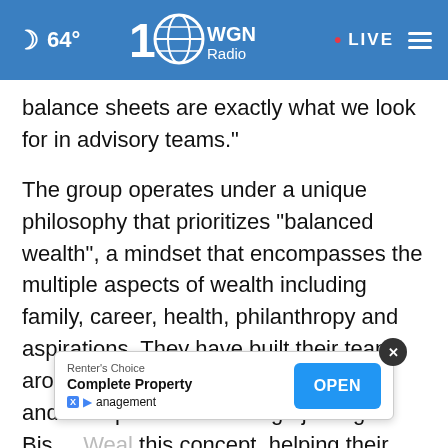64° | 100 WGN Radio | LIVE
balance sheets are exactly what we look for in advisory teams."
The group operates under a unique philosophy that prioritizes "balanced wealth", a mindset that encompasses the multiple aspects of wealth including family, career, health, philanthropy and aspirations. They have built their team around the needs of business owners and entrepreneurs. Through joining Bis[...] Weal[...] this concept, helping their clients to plan, protect
[Figure (screenshot): Renter's Choice advertisement overlay: 'Complete Property Management' with OPEN button]